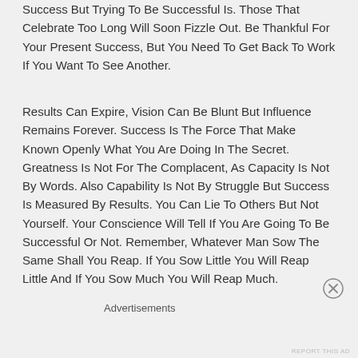Success But Trying To Be Successful Is. Those That Celebrate Too Long Will Soon Fizzle Out. Be Thankful For Your Present Success, But You Need To Get Back To Work If You Want To See Another.
Results Can Expire, Vision Can Be Blunt But Influence Remains Forever. Success Is The Force That Make Known Openly What You Are Doing In The Secret. Greatness Is Not For The Complacent, As Capacity Is Not By Words. Also Capability Is Not By Struggle But Success Is Measured By Results. You Can Lie To Others But Not Yourself. Your Conscience Will Tell If You Are Going To Be Successful Or Not. Remember, Whatever Man Sow The Same Shall You Reap. If You Sow Little You Will Reap Little And If You Sow Much You Will Reap Much.
Advertisements